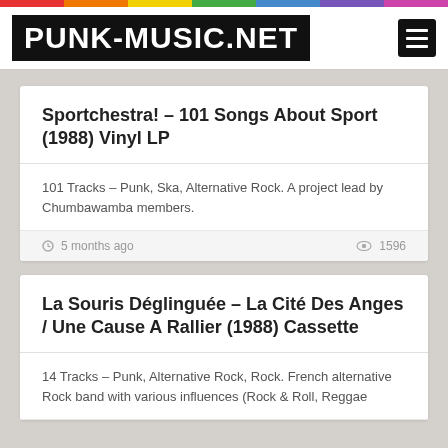PUNK-MUSIC.NET
Sportchestra! – 101 Songs About Sport (1988) Vinyl LP
101 Tracks – Punk, Ska, Alternative Rock. A project lead by Chumbawamba members.
5 months ago   1596
La Souris Déglinguée – La Cité Des Anges / Une Cause A Rallier (1988) Cassette
14 Tracks – Punk, Alternative Rock, Rock. French alternative Rock band with various influences (Rock & Roll, Reggae